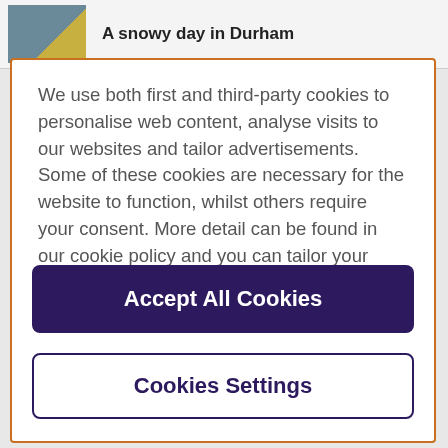[Figure (screenshot): Thumbnail image of a person with yellow background element, part of a webpage header]
A snowy day in Durham
We use both first and third-party cookies to personalise web content, analyse visits to our websites and tailor advertisements. Some of these cookies are necessary for the website to function, whilst others require your consent. More detail can be found in our cookie policy and you can tailor your choices in the preference centre.
Accept All Cookies
Cookies Settings